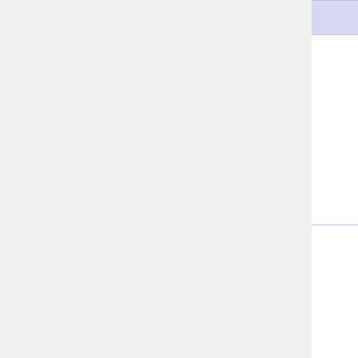|  |  | Perks/Weapons (truncated) |
| --- | --- | --- |
|  | King Fleshpound · Abom... |  |
|  | Berserker | Crovel Surv...
Katana ·
Piranha Pis...
Road Rede...
Hemoclobb...
HRG Teslau...
Static Strike...
Ion Thruste...
Lawn Mowe... |
|  | Commando | AR-15 Varm...
SA80 L85A...
Mkb.42(H) ...
FAMAS Ma...
SCAR-H As...
Minigun (DL...
KF-BAR · H... |
|  | Support | SG 500 Pur...
HRG Bucks...
Double-bar...
HZ12 Multi-...
Frost Fang... |